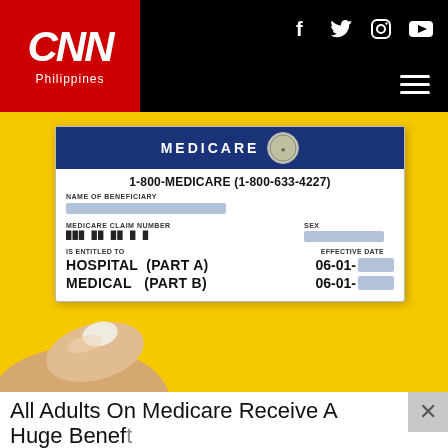CNN Philippines
[Figure (photo): A hand holding a Medicare card against a yellow background. The card shows: 1-800-MEDICARE (1-800-633-4227), NAME OF BENEFICIARY (redacted), MEDICARE CLAIM NUMBER (redacted), SEX (redacted), EFFECTIVE DATE, IS ENTITLED TO: HOSPITAL (PART A) 06-01-[redacted], MEDICAL (PART B) 06-01-[redacted]]
All Adults On Medicare Receive A Huge Benefit (Check If You Qualify)